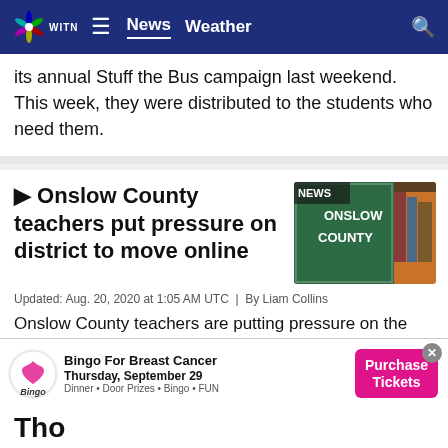WITN News Weather
its annual Stuff the Bus campaign last weekend. This week, they were distributed to the students who need them.
▶ Onslow County teachers put pressure on district to move online
[Figure (photo): Chalkboard with NEWS ONSLOW COUNTY text and books stacked beside it]
Updated: Aug. 20, 2020 at 1:05 AM UTC | By Liam Collins
Onslow County teachers are putting pressure on the school board to move back to fully-remote learning. Chairwoman Pam Thomas says they don't have a specific scenario that would happen for them to consider it.
[Figure (infographic): Bingo For Breast Cancer advertisement banner. Thursday, September 29. Dinner, Door Prizes, Bingo, FUN. Purchase Tickets button.]
Tho